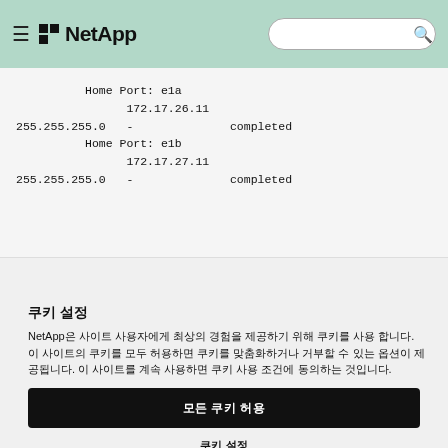NetApp [hamburger menu, search bar, globe button]
Home Port: e1a
172.17.26.11
255.255.255.0   -              completed
Home Port: e1b
172.17.27.11
255.255.255.0   -              completed
쿠키 설정
NetApp은 사이트 사용자에게 최상의 경험을 제공하기 위해 쿠키를 사용 합니다. 이 사이트의 쿠키를 모두 허용하면 쿠키를 맞춤화하거나 거부할 수 있는 옵션이 제공됩니다. 이 사이트를 계속 사용하면 쿠키 사용 조건에 동의하는 것입니다.
모든 쿠키 허용
쿠키 설정